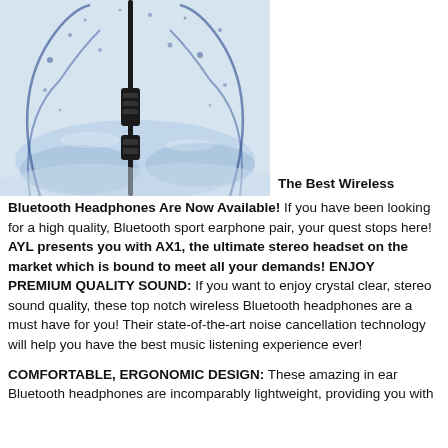[Figure (photo): Bluetooth headphone cable with inline remote/controls submerged in splashing blue water, showing water resistance]
The Best Wireless Bluetooth Headphones Are Now Available! If you have been looking for a high quality, Bluetooth sport earphone pair, your quest stops here! AYL presents you with AX1, the ultimate stereo headset on the market which is bound to meet all your demands! ENJOY PREMIUM QUALITY SOUND: If you want to enjoy crystal clear, stereo sound quality, these top notch wireless Bluetooth headphones are a must have for you! Their state-of-the-art noise cancellation technology will help you have the best music listening experience ever!
COMFORTABLE, ERGONOMIC DESIGN: These amazing in ear Bluetooth headphones are incomparably lightweight, providing you with